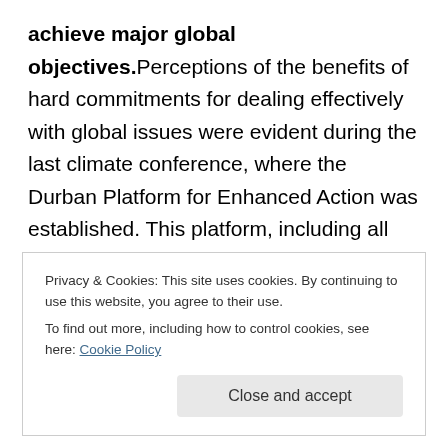achieve major global objectives. Perceptions of the benefits of hard commitments for dealing effectively with global issues were evident during the last climate conference, where the Durban Platform for Enhanced Action was established. This platform, including all the Kyoto Protocol signatories plus the US, aims to bring both developed and developing countries together in a legally binding treaty between 2015 and 2020[37]. Additionally, there is another initiative to elaborate a binding Framework Convention on Global Health[38]. These political endeavours are a proof that previous non-binding
Privacy & Cookies: This site uses cookies. By continuing to use this website, you agree to their use.
To find out more, including how to control cookies, see here: Cookie Policy